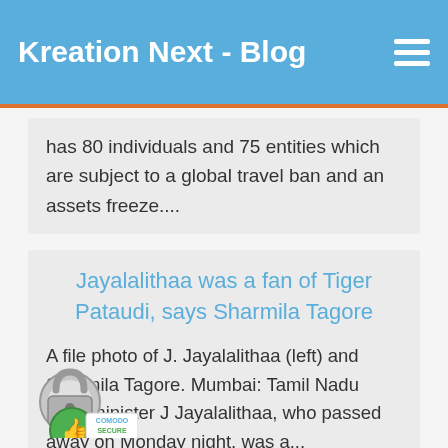Kreation Next - Blog
has 80 individuals and 75 entities which are subject to a global travel ban and an assets freeze....
Jayalalithaa was a fan of Tiger Pataudi, says Sharmila Tagore
A file photo of J. Jayalalithaa (left) and Sharmila Tagore. Mumbai: Tamil Nadu chief minister J Jayalalithaa, who passed away on Monday night, was a...
Nuclear war at any moment: North